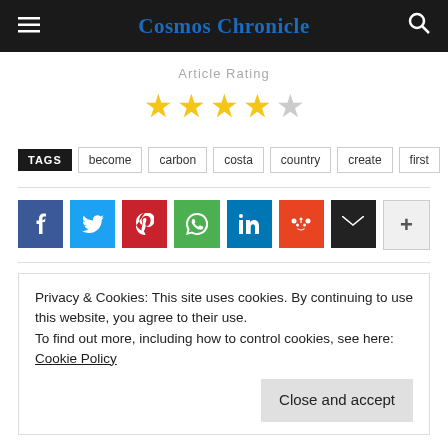Cosmos Chronicle
Article Rating
[Figure (infographic): 4 out of 5 stars rating: four filled gold stars and one empty/grey star]
TAGS  become  carbon  costa  country  create  first
[Figure (infographic): Social share buttons: Facebook, Twitter, Pinterest, WhatsApp, LinkedIn, Reddit, Email, More]
Privacy & Cookies: This site uses cookies. By continuing to use this website, you agree to their use.
To find out more, including how to control cookies, see here: Cookie Policy
Close and accept